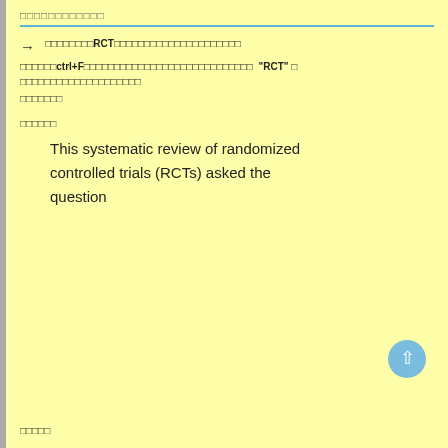□□□□□□□□□□□□
→ □□□□□□□□RCT□□□□□□□□□□□□□□□□□□□□□
□□□□□□ctrl+F□□□□□□□□□□□□□□□□□□□□□□□□□□□□ "RCT" □ □□□□□□□□□□□□□□□□□□□
□□□□□□□
□□□□□□
This systematic review of randomized controlled trials (RCTs) asked the question
□□□□□